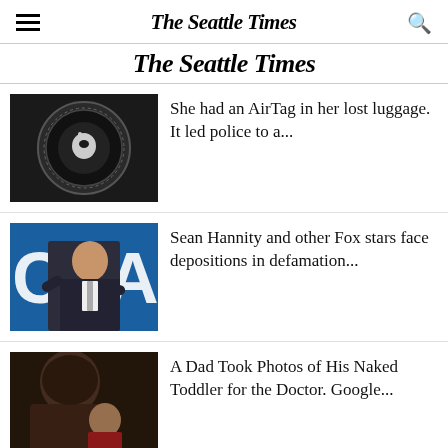The Seattle Times
The Seattle Times
[Figure (photo): Apple AirTag device on dark background]
She had an AirTag in her lost luggage. It led police to a...
[Figure (photo): Sean Hannity speaking at a podium with blue background]
Sean Hannity and other Fox stars face depositions in defamation...
[Figure (photo): A parent and child in dark setting]
A Dad Took Photos of His Naked Toddler for the Doctor. Google...